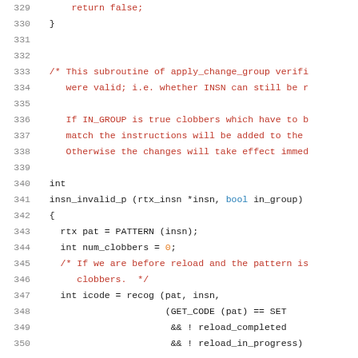Source code listing, lines 329–350, showing insn_invalid_p function and preceding comment block in C.